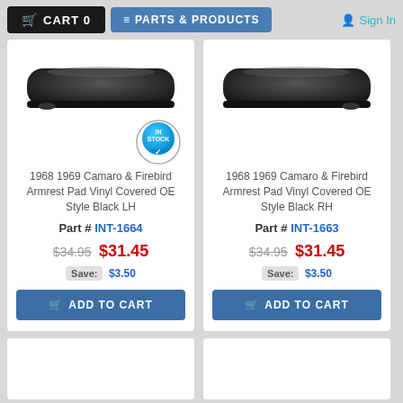CART 0  |  PARTS & PRODUCTS  |  Sign In
[Figure (photo): Black armrest pad, elongated, vinyl covered, viewed from above - LH side. Blue 'In Stock' badge with checkmark overlay.]
1968 1969 Camaro & Firebird Armrest Pad Vinyl Covered OE Style Black LH
Part # INT-1664
$34.95  $31.45  Save: $3.50
ADD TO CART
[Figure (photo): Black armrest pad, elongated, vinyl covered, viewed from above - RH side.]
1968 1969 Camaro & Firebird Armrest Pad Vinyl Covered OE Style Black RH
Part # INT-1663
$34.95  $31.45  Save: $3.50
ADD TO CART